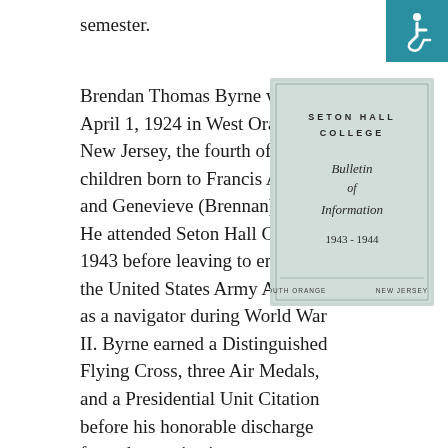semester.
[Figure (photo): Cover of Seton Hall College Bulletin of Information 1943-1944, South Orange, New Jersey]
Brendan Thomas Byrne was born April 1, 1924 in West Orange, New Jersey, the fourth of five children born to Francis A. Byrne and Genevieve (Brennan) Byrne. He attended Seton Hall College in 1943 before leaving to enroll in the United States Army Air Corps as a navigator during World War II. Byrne earned a Distinguished Flying Cross, three Air Medals, and a Presidential Unit Citation before his honorable discharge from the service in